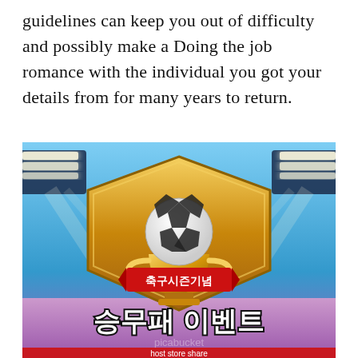guidelines can keep you out of difficulty and possibly make a Doing the job romance with the individual you got your details from for many years to return.
[Figure (illustration): Korean sports betting promotional image featuring a gold shield trophy with a soccer ball on top, a red banner reading '축구시즌기념' (football season commemoration), large Korean text '승무패 이벤트' (win/draw/loss event), and stadium lights in the background. Bottom shows partial text with 'host store share'.]